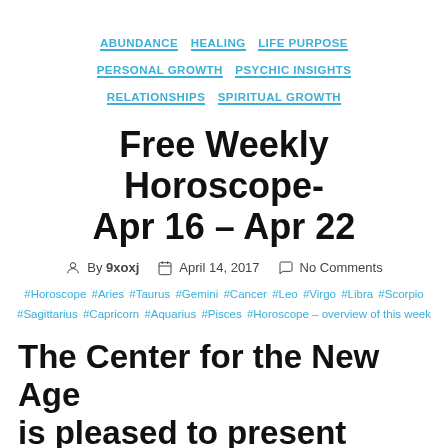ABUNDANCE  HEALING  LIFE PURPOSE  PERSONAL GROWTH  PSYCHIC INSIGHTS  RELATIONSHIPS  SPIRITUAL GROWTH
Free Weekly Horoscope- Apr 16 – Apr 22
By 9xoxj  April 14, 2017  No Comments
#Horoscope #Aries #Taurus #Gemini #Cancer #Leo #Virgo #Libra #Scorpio #Sagittarius #Capricorn #Aquarius #Pisces #Horoscope – overview of this week
The Center for the New Age is pleased to present